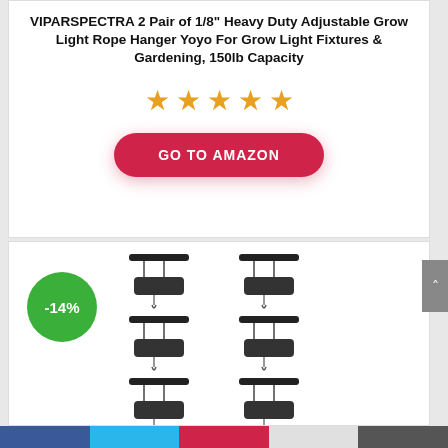VIPARSPECTRA 2 Pair of 1/8" Heavy Duty Adjustable Grow Light Rope Hanger Yoyo For Grow Light Fixtures & Gardening, 150lb Capacity
[Figure (other): Five orange star rating icons]
GO TO AMAZON
[Figure (photo): Product photo of 6 rope hanger yoyos with a -14% discount badge]
Navigation bar with social/share icons